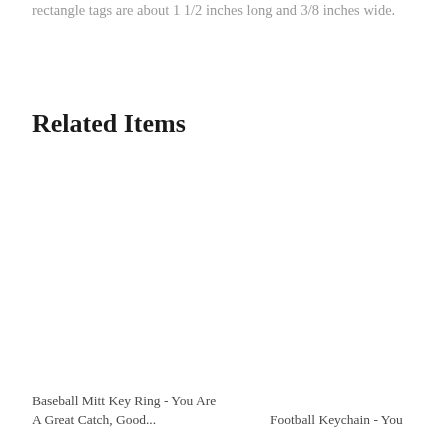rectangle tags are about 1 1/2 inches long and 3/8 inches wide.
Related Items
Baseball Mitt Key Ring - You Are A Great Catch, Good...
Football Keychain - You